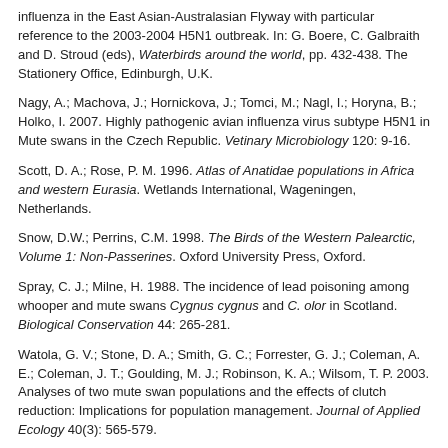influenza in the East Asian-Australasian Flyway with particular reference to the 2003-2004 H5N1 outbreak. In: G. Boere, C. Galbraith and D. Stroud (eds), Waterbirds around the world, pp. 432-438. The Stationery Office, Edinburgh, U.K.
Nagy, A.; Machova, J.; Hornickova, J.; Tomci, M.; Nagl, I.; Horyna, B.; Holko, I. 2007. Highly pathogenic avian influenza virus subtype H5N1 in Mute swans in the Czech Republic. Vetinary Microbiology 120: 9-16.
Scott, D. A.; Rose, P. M. 1996. Atlas of Anatidae populations in Africa and western Eurasia. Wetlands International, Wageningen, Netherlands.
Snow, D.W.; Perrins, C.M. 1998. The Birds of the Western Palearctic, Volume 1: Non-Passerines. Oxford University Press, Oxford.
Spray, C. J.; Milne, H. 1988. The incidence of lead poisoning among whooper and mute swans Cygnus cygnus and C. olor in Scotland. Biological Conservation 44: 265-281.
Watola, G. V.; Stone, D. A.; Smith, G. C.; Forrester, G. J.; Coleman, A. E.; Coleman, J. T.; Goulding, M. J.; Robinson, K. A.; Wilsom, T. P. 2003. Analyses of two mute swan populations and the effects of clutch reduction: Implications for population management. Journal of Applied Ecology 40(3): 565-579.
Wetlands International. 2015. Waterbird Population Estimates. Available at: wpe.wetlands.org (Accessed: 17/09/2015).